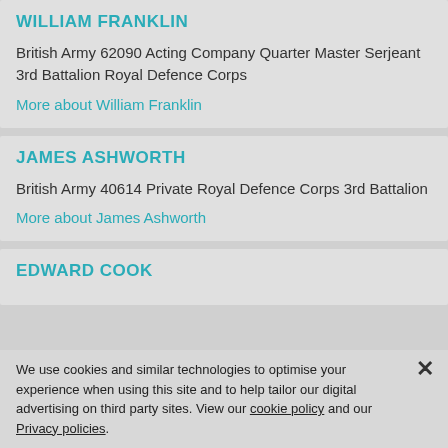WILLIAM FRANKLIN
British Army 62090 Acting Company Quarter Master Serjeant 3rd Battalion Royal Defence Corps
More about William Franklin
JAMES ASHWORTH
British Army 40614 Private Royal Defence Corps 3rd Battalion
More about James Ashworth
EDWARD COOK
We use cookies and similar technologies to optimise your experience when using this site and to help tailor our digital advertising on third party sites. View our cookie policy and our Privacy policies.